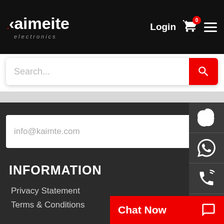[Figure (logo): Kaimeite electronics logo - white text with red dot on black background]
Login
0
Search...
info@kaimte.com
Subscri
INFORMATION
Privacy Statement
Terms & Conditions
About us
Corporate Culture
Chat Now